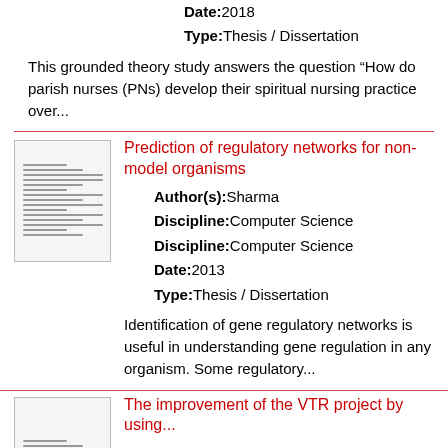Date: 2018
Type: Thesis / Dissertation
This grounded theory study answers the question “How do parish nurses (PNs) develop their spiritual nursing practice over...
Prediction of regulatory networks for non-model organisms
[Figure (other): Thumbnail of document page for 'Prediction of regulatory networks for non-model organisms']
Author(s): Sharma
Discipline: Computer Science
Discipline: Computer Science
Date: 2013
Type: Thesis / Dissertation
Identification of gene regulatory networks is useful in understanding gene regulation in any organism. Some regulatory...
[Figure (other): Thumbnail of document page for partially visible third entry]
The improvement of the VTR project by using...